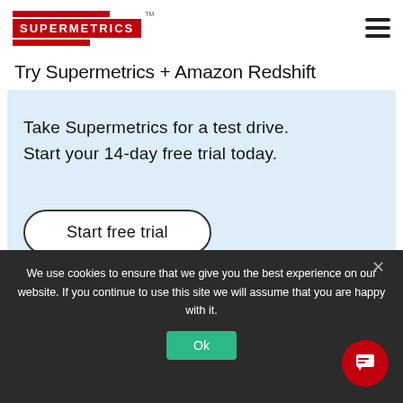Supermetrics logo and navigation
Try Supermetrics + Amazon Redshift
Take Supermetrics for a test drive. Start your 14-day free trial today.
Start free trial
We use cookies to ensure that we give you the best experience on our website. If you continue to use this site we will assume that you are happy with it.
Ok